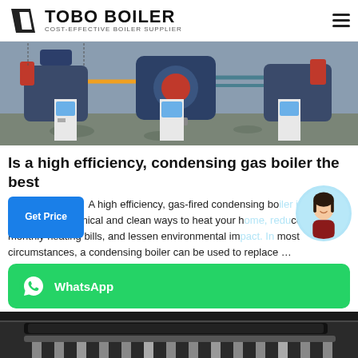TOBO BOILER — COST-EFFECTIVE BOILER SUPPLIER
[Figure (photo): Industrial boiler room with three large blue gas-fired boilers and control panels on a concrete floor]
Is a high efficiency, condensing gas boiler the best
A high efficiency, gas-fired condensing boiler is one of the most economical and clean ways to heat your home, reduce your monthly heating bills, and lessen environmental impact. In most circumstances, a condensing boiler can be used to replace …
[Figure (photo): Industrial boiler tubes and pipes in a factory or boiler room, viewed from below]